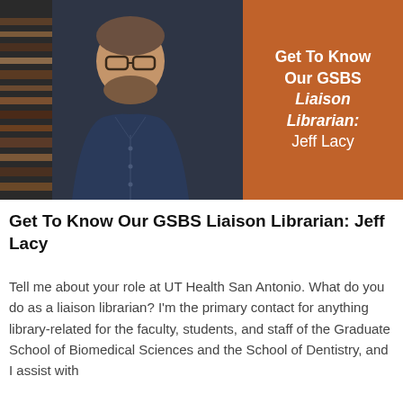[Figure (photo): Split image: left half shows a photo of Jeff Lacy, a man with glasses and a beard wearing a navy blue shirt, standing in front of library bookshelves. Right half is a burnt orange/brown panel with white text reading 'Get To Know Our GSBS Liaison Librarian: Jeff Lacy'.]
Get To Know Our GSBS Liaison Librarian: Jeff Lacy
Tell me about your role at UT Health San Antonio. What do you do as a liaison librarian? I'm the primary contact for anything library-related for the faculty, students, and staff of the Graduate School of Biomedical Sciences and the School of Dentistry, and I assist with...